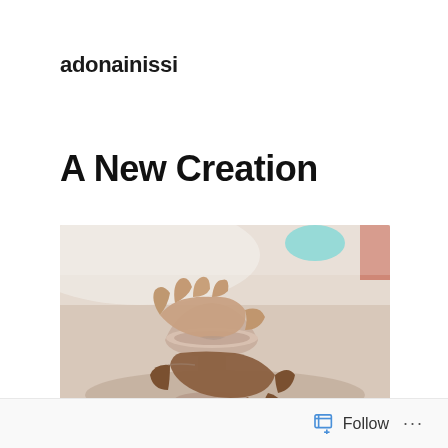adonainissi
A New Creation
[Figure (photo): Close-up photograph of two pairs of hands shaping a clay bowl on a pottery wheel. The clay pot is a pale pinkish-brown, and the hands are covered in clay. The background is blurred with light colors.]
Follow ...